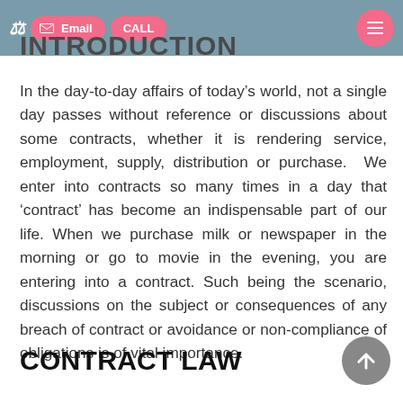Email  CALL
INTRODUCTION
In the day-to-day affairs of today’s world, not a single day passes without reference or discussions about some contracts, whether it is rendering service, employment, supply, distribution or purchase.  We enter into contracts so many times in a day that ‘contract’ has become an indispensable part of our life. When we purchase milk or newspaper in the morning or go to movie in the evening, you are entering into a contract. Such being the scenario, discussions on the subject or consequences of any breach of contract or avoidance or non-compliance of obligations is of vital importance.
CONTRACT LAW